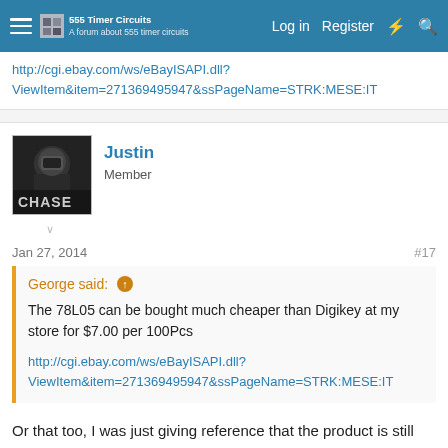555 Timer Circuits — Log in  Register
http://cgi.ebay.com/ws/eBayISAPI.dll?ViewItem&item=271369495947&ssPageName=STRK:MESE:IT
Justin
Member
Jan 27, 2014  #17
George said: ↑

The 78L05 can be bought much cheaper than Digikey at my store for $7.00 per 100Pcs

http://cgi.ebay.com/ws/eBayISAPI.dll?ViewItem&item=271369495947&ssPageName=STRK:MESE:IT
Or that too, I was just giving reference that the product is still available and not out of service. I do recommend buying from George as he gives some good deals on his products.